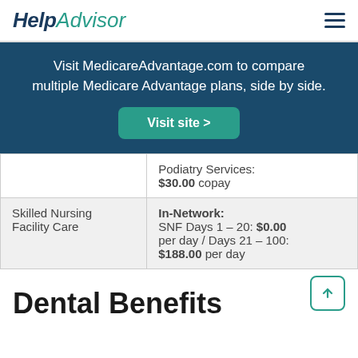HelpAdvisor
Visit MedicareAdvantage.com to compare multiple Medicare Advantage plans, side by side.
|  | Podiatry Services: $30.00 copay |
| Skilled Nursing Facility Care | In-Network: SNF Days 1 – 20: $0.00 per day / Days 21 – 100: $188.00 per day |
Dental Benefits